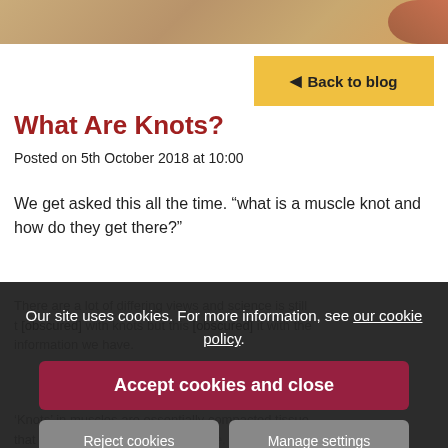[Figure (photo): Close-up photo of skin/muscle tissue, warm tan tones, partially cropped at top of page]
◄ Back to blog
What Are Knots?
Posted on 5th October 2018 at 10:00
We get asked this all the time. “what is a muscle knot and how do they get there?”
There are a lot of differing views and science is still [obscured] with knots but this [obscured] it with the information we have.
Our site uses cookies. For more information, see our cookie policy.
Accept cookies and close
‘Knots’ in muscles are essentially compacted tissue that ca[obscured] re, stress, g[obscured] injury.
Reject cookies
Manage settings